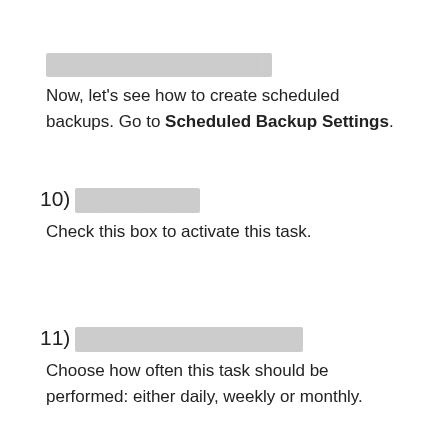████████████████████
Now, let's see how to create scheduled backups. Go to Scheduled Backup Settings.
10) ██████████
Check this box to activate this task.
11) ██████████: ████████
Choose how often this task should be performed: either daily, weekly or monthly.